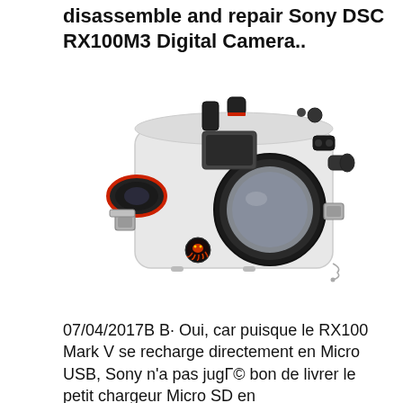disassemble and repair Sony DSC RX100M3 Digital Camera..
[Figure (photo): White underwater camera housing (likely Ikelite or similar brand) for Sony RX100M3, shown from the front-left angle. The housing features a large circular lens port on the right side, controls and knobs on top, a lens/port assembly on the left, latches on the sides, and a colorful octopus brand logo sticker on the front lower-left.]
07/04/2017В В· Oui, car puisque le RX100 Mark V se recharge directement en Micro USB, Sony n'a pas jugГ© bon de livrer le petit chargeur Micro SD en